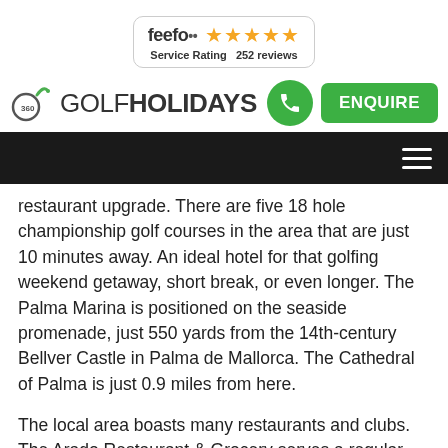[Figure (logo): Feefo service rating badge with 5 gold stars and '252 reviews' text]
[Figure (logo): 360 Golf Holidays logo with green phone button and green ENQUIRE button]
[Figure (screenshot): Dark navigation bar with hamburger menu icon]
restaurant upgrade. There are five 18 hole championship golf courses in the area that are just 10 minutes away. An ideal hotel for that golfing weekend getaway, short break, or even longer. The Palma Marina is positioned on the seaside promenade, just 550 yards from the 14th-century Bellver Castle in Palma de Mallorca. The Cathedral of Palma is just 0.9 miles from here.
The local area boasts many restaurants and clubs. The Arado Restaurant & Grocery serves a regular